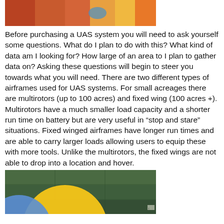[Figure (photo): Aerial/satellite image showing agricultural field with orange-red and yellow tones, partial blue circular object visible]
Before purchasing a UAS system you will need to ask yourself some questions. What do I plan to do with this? What kind of data am I looking for? How large of an area to I plan to gather data on? Asking these questions will begin to steer you towards what you will need. There are two different types of airframes used for UAS systems. For small acreages there are multirotors (up to 100 acres) and fixed wing (100 acres +). Multirotors have a much smaller load capacity and a shorter run time on battery but are very useful in “stop and stare” situations. Fixed winged airframes have longer run times and are able to carry larger loads allowing users to equip these with more tools. Unlike the multirotors, the fixed wings are not able to drop into a location and hover.
[Figure (photo): Aerial/satellite image of agricultural fields with a large yellow circle and partial blue circle overlaid, showing coverage areas]